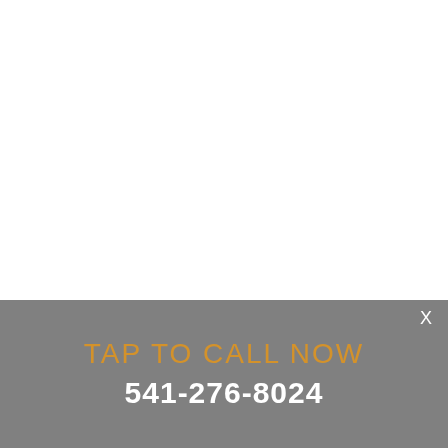[Figure (other): White blank area occupying the upper portion of the page]
X
TAP TO CALL NOW
541-276-8024